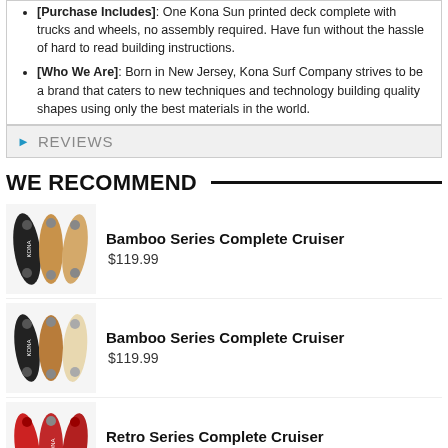[Purchase Includes]: One Kona Sun printed deck complete with trucks and wheels, no assembly required. Have fun without the hassle of hard to read building instructions.
[Who We Are]: Born in New Jersey, Kona Surf Company strives to be a brand that caters to new techniques and technology building quality shapes using only the best materials in the world.
REVIEWS
WE RECOMMEND
Bamboo Series Complete Cruiser
$119.99
Bamboo Series Complete Cruiser
$119.99
Retro Series Complete Cruiser
$119.99